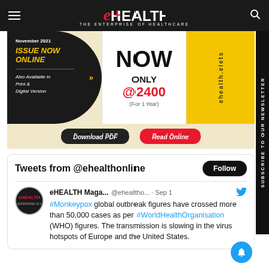eHEALTH — THE ENTERPRISE OF HEALTHCARE
[Figure (infographic): eHealth magazine subscription ad banner — November 2021 Issue Now Online. Also Available in Print & Digital Version. NOW ONLY @2400 (For 1 Year). Download PDF and Read Online buttons.]
Tweets from @ehealthonline
eHEALTH Maga... @ehealtho... · Sep 1 — #Monkeypox global outbreak figures have crossed more than 50,000 cases as per #WorldHealthOrganisation (WHO) figures. The transmission is slowing in the virus hotspots of Europe and the United States.